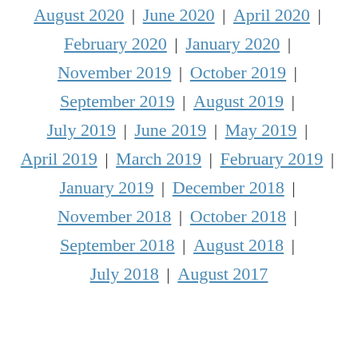August 2020 | June 2020 | April 2020 | February 2020 | January 2020 | November 2019 | October 2019 | September 2019 | August 2019 | July 2019 | June 2019 | May 2019 | April 2019 | March 2019 | February 2019 | January 2019 | December 2018 | November 2018 | October 2018 | September 2018 | August 2018 | July 2018 | August 2017